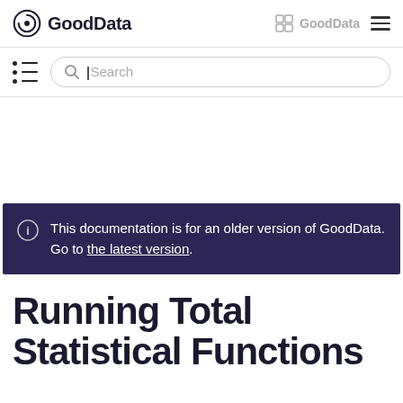GoodData | GoodData
[Figure (screenshot): Search bar row with list icon and search input placeholder]
This documentation is for an older version of GoodData. Go to the latest version.
Running Total Statistical Functions